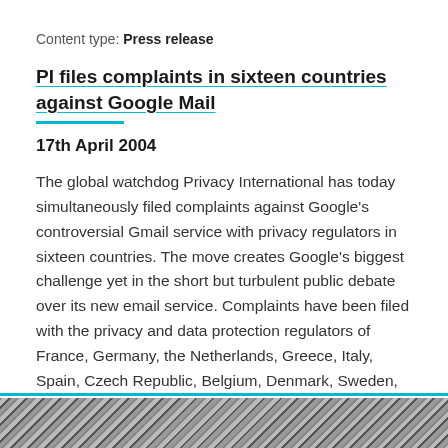Content type: Press release
PI files complaints in sixteen countries against Google Mail
17th April 2004
The global watchdog Privacy International has today simultaneously filed complaints against Google's controversial Gmail service with privacy regulators in sixteen countries. The move creates Google's biggest challenge yet in the short but turbulent public debate over its new email service. Complaints have been filed with the privacy and data protection regulators of France, Germany, the Netherlands, Greece, Italy, Spain, Czech Republic, Belgium, Denmark, Sweden, Ireland, Portugal, Poland,...
[Figure (photo): Decorative striped image at the bottom of the page]